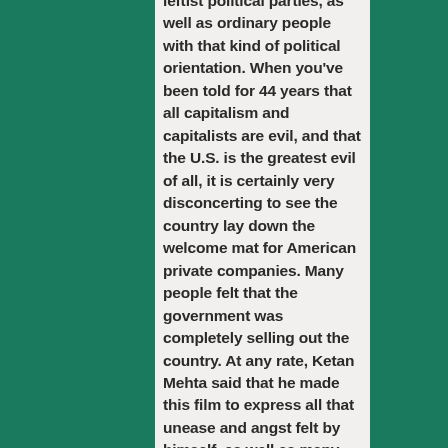leftist political parties, as well as ordinary people with that kind of political orientation. When you've been told for 44 years that all capitalism and capitalists are evil, and that the U.S. is the greatest evil of all, it is certainly very disconcerting to see the country lay down the welcome mat for American private companies. Many people felt that the government was completely selling out the country. At any rate, Ketan Mehta said that he made this film to express all that unease and angst felt by himself, as well as many others he knew. He felt that the country was selling its soul, and that's why